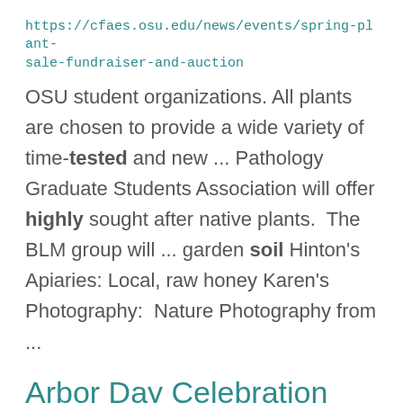https://cfaes.osu.edu/news/events/spring-plant-sale-fundraiser-and-auction
OSU student organizations. All plants are chosen to provide a wide variety of time-tested and new ... Pathology Graduate Students Association will offer highly sought after native plants.  The BLM group will ... garden soil Hinton's Apiaries: Local, raw honey Karen's Photography:  Nature Photography from ...
Arbor Day Celebration 2022
https://cfaes.osu.edu/news/events/arbor-day-celebration-2022
rain or shine under the Kottman Hall Patio.